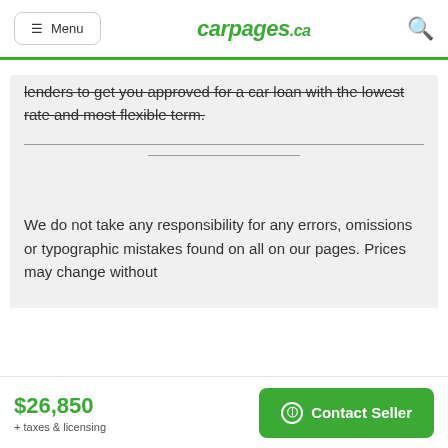Menu | carpages.ca
lenders to get you approved for a car loan with the lowest rate and most flexible term.
Price - We offer high quality vehicles at lowest price. No haggle, No hassle, No admin or hidden fee. Just our best price first! Prices are plus HST & Licensing. Although every
$26,850
+ taxes & licensing
Contact Seller
We do not take any responsibility for any errors, omissions or typographic mistakes found on all on our pages. Prices may change without